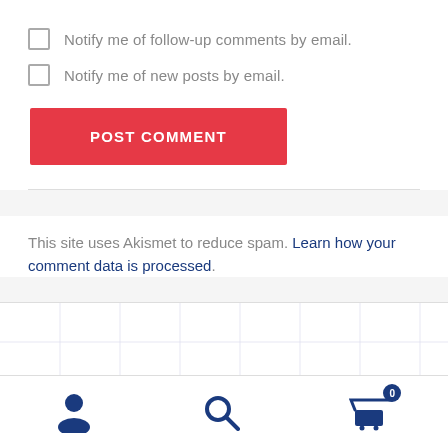Notify me of follow-up comments by email.
Notify me of new posts by email.
POST COMMENT
This site uses Akismet to reduce spam. Learn how your comment data is processed.
User icon, Search icon, Cart icon with badge 0